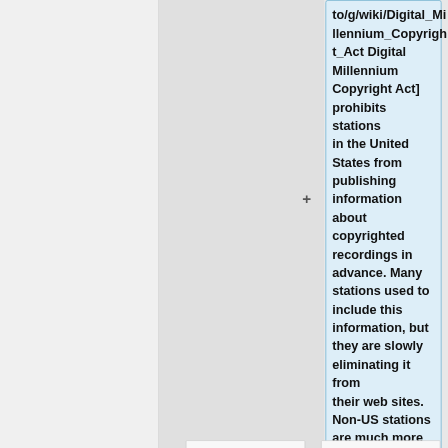to/g/wiki/Digital_Millennium_Copyright_Act Digital Millennium Copyright Act] prohibits stations in the United States from publishing information about copyrighted recordings in advance. Many stations used to include this information, but they are slowly eliminating it from their web sites. Non-US stations are much more informative and accommodating to music lovers.